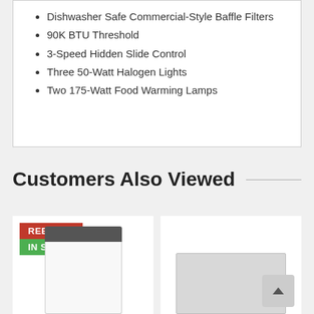Dishwasher Safe Commercial-Style Baffle Filters
90K BTU Threshold
3-Speed Hidden Slide Control
Three 50-Watt Halogen Lights
Two 175-Watt Food Warming Lamps
Customers Also Viewed
[Figure (photo): Washing machine product image with REBATE and IN STOCK badges]
[Figure (photo): Oven or range product image, stainless steel appearance]